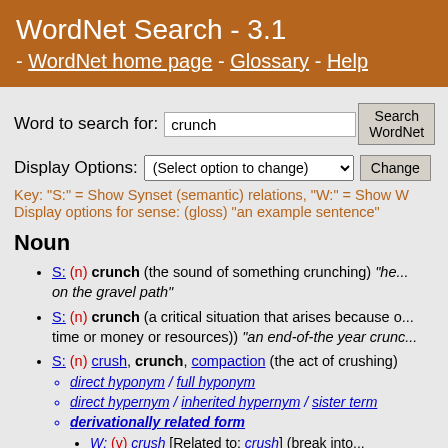WordNet Search - 3.1 - WordNet home page - Glossary - Help
Word to search for: crunch  Search WordNet
Display Options: (Select option to change) Change
Key: "S:" = Show Synset (semantic) relations, "W:" = Show W  Display options for sense: (gloss) "an example sentence"
Noun
S: (n) crunch (the sound of something crunching) "he... on the gravel path"
S: (n) crunch (a critical situation that arises because o... time or money or resources)) "an end-of-the year crunc..."
S: (n) crush, crunch, compaction (the act of crushing)
direct hyponym / full hyponym
direct hypernym / inherited hypernym / sister term
derivationally related form
W: (v) crush [Related to: crush] (break into... crushed the toy"